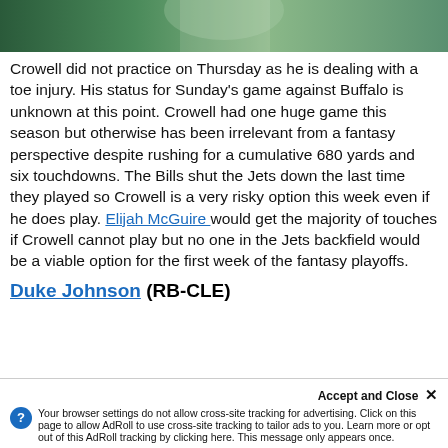[Figure (photo): Sports photo showing a football player in green Jets uniform, blurred background with teal/green tones]
Crowell did not practice on Thursday as he is dealing with a toe injury.  His status for Sunday's game against Buffalo is unknown at this point.  Crowell had one huge game this season but otherwise has been irrelevant from a fantasy perspective despite rushing for a cumulative 680 yards and six touchdowns.  The Bills shut the Jets down the last time they played so Crowell is a very risky option this week even if he does play.  Elijah McGuire would get the majority of touches if Crowell cannot play but no one in the Jets backfield would be a viable option for the first week of the fantasy playoffs.
Duke Johnson (RB-CLE)
Accept and Close ×
Your browser settings do not allow cross-site tracking for advertising. Click on this page to allow AdRoll to use cross-site tracking to tailor ads to you. Learn more or opt out of this AdRoll tracking by clicking here. This message only appears once.